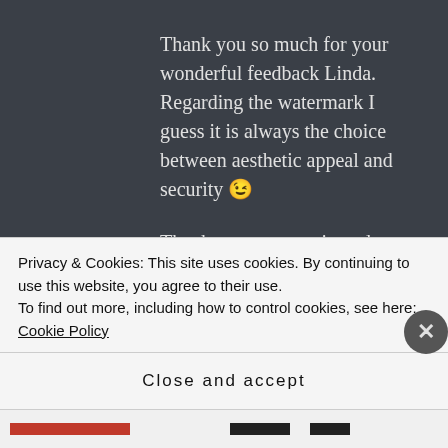Thank you so much for your wonderful feedback Linda. Regarding the watermark I guess it is always the choice between aesthetic appeal and security 😉 Thank you once again and enjoy your weekend 👍😄
★ Liked by 1 person
GLORIA says:  ↩ Reply
Privacy & Cookies: This site uses cookies. By continuing to use this website, you agree to their use.
To find out more, including how to control cookies, see here: Cookie Policy
Close and accept